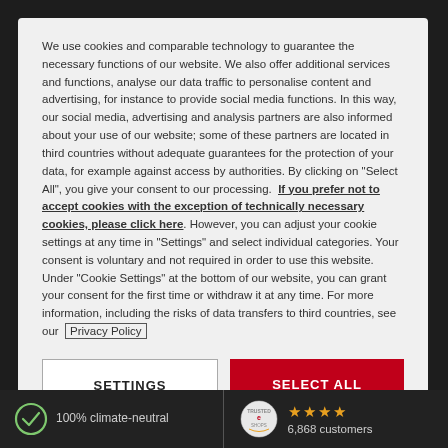We use cookies and comparable technology to guarantee the necessary functions of our website. We also offer additional services and functions, analyse our data traffic to personalise content and advertising, for instance to provide social media functions. In this way, our social media, advertising and analysis partners are also informed about your use of our website; some of these partners are located in third countries without adequate guarantees for the protection of your data, for example against access by authorities. By clicking on "Select All", you give your consent to our processing.  If you prefer not to accept cookies with the exception of technically necessary cookies, please click here. However, you can adjust your cookie settings at any time in "Settings" and select individual categories. Your consent is voluntary and not required in order to use this website. Under "Cookie Settings" at the bottom of our website, you can grant your consent for the first time or withdraw it at any time. For more information, including the risks of data transfers to third countries, see our  Privacy Policy
SETTINGS
SELECT ALL
100% climate-neutral
6,868 customers